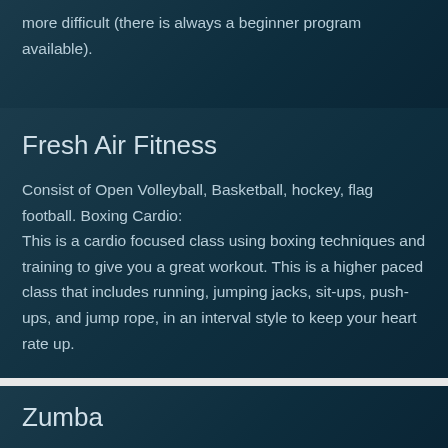more difficult (there is always a beginner program available).
Fresh Air Fitness
Consist of Open Volleyball, Basketball, hockey, flag football. Boxing Cardio: This is a cardio focused class using boxing techniques and training to give you a great workout. This is a higher paced class that includes running, jumping jacks, sit-ups, push-ups, and jump rope, in an interval style to keep your heart rate up.
Zumba